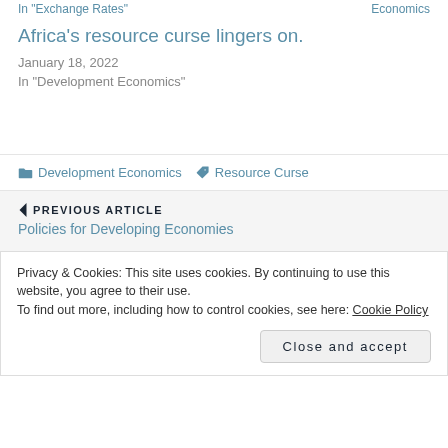In "Exchange Rates"
Economics
Africa's resource curse lingers on.
January 18, 2022
In "Development Economics"
Development Economics   Resource Curse
PREVIOUS ARTICLE
Policies for Developing Economies
Privacy & Cookies: This site uses cookies. By continuing to use this website, you agree to their use.
To find out more, including how to control cookies, see here: Cookie Policy
Close and accept